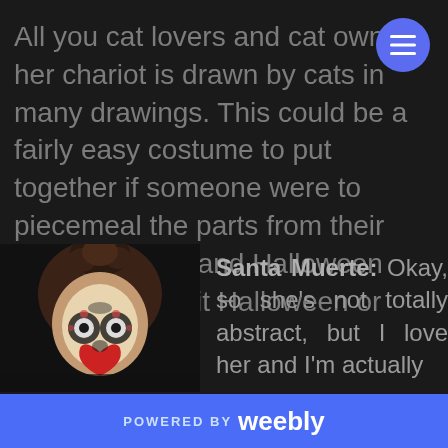All you cat lovers and cat owners, her chariot is drawn by cats in many drawings. This could be a fairly easy costume to put together if someone were to piecemeal the parts from their own wardrobe and Halloween shops like Spirit Halloween or Party City.
[Figure (photo): Person with sugar skull / Santa Muerte face paint and hair styled in a bun]
Santa Muerte: Okay, so she's not totally abstract, but I love her and I'm actually
POWERED BY weebly